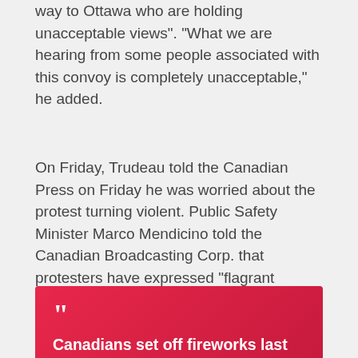way to Ottawa who are holding unacceptable views". "What we are hearing from some people associated with this convoy is completely unacceptable," he added.
On Friday, Trudeau told the Canadian Press on Friday he was worried about the protest turning violent. Public Safety Minister Marco Mendicino told the Canadian Broadcasting Corp. that protesters have expressed “flagrant extremism,” including calls to overthrow the government.
“Canadians set off fireworks last night as the truck convoy passed in protest against vaccine mandates and COVID